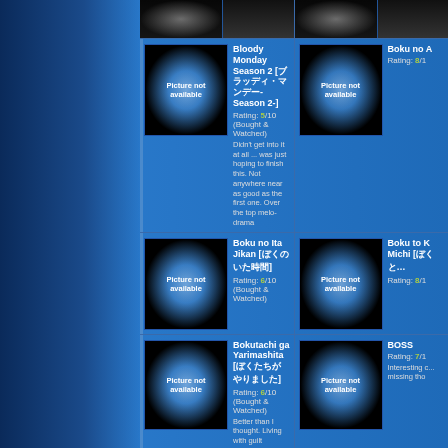Bloody Monday Season 2 - Rating: 5/10 (Bought & Watched) - Didn't get into it at all ... was just hoping to finish this. Not anywhere near as good as the first one. Over the top melo-drama
Boku no A - Rating: 8/10
Boku no Ita Jikan - Rating: 6/10 (Bought & Watched)
Boku to K Michi - Rating: 8/10
Bokutachi ga Yarimashita - Rating: 6/10 (Bought & Watched) Better than I thought. Living with guilt storyline.
BOSS - Rating: 7/10 Interesting c... missing tho...
Bull Doctor - Rating: 6/10 (Bought & Watched) Cast and acting was good but something was missing ... subtleness.
Busu no H - Rating: 6/10
Byakuyakou - Rating: 8/10 (Bought & Watched) Dark and lots of death!
Celeb to B - Rating: 3/10 Felt like I wa... thought into...